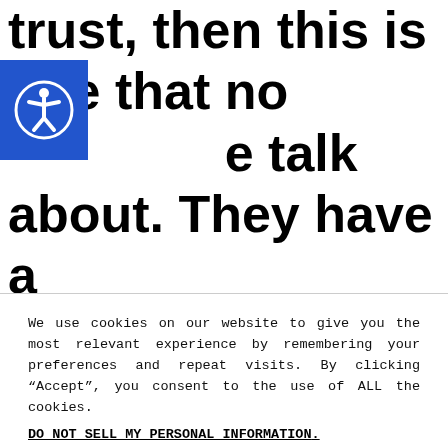trust, then this is one that no one talk about. They have a large selection of over 11,500 affiliate advertisers.
[Figure (logo): Accessibility icon — blue square with white person in circle symbol]
We use cookies on our website to give you the most relevant experience by remembering your preferences and repeat visits. By clicking “Accept”, you consent to the use of ALL the cookies.
DO NOT SELL MY PERSONAL INFORMATION.
COOKIE SETTINGS
ACCEPT